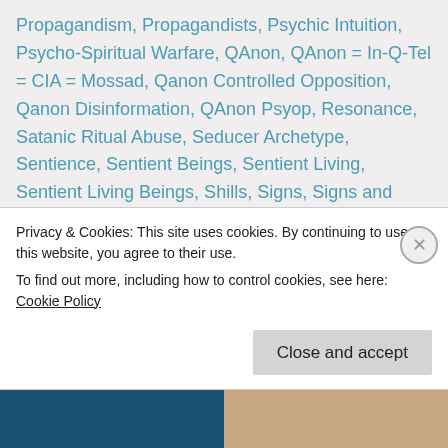Propagandism, Propagandists, Psychic Intuition, Psycho-Spiritual Warfare, QAnon, QAnon = In-Q-Tel = CIA = Mossad, Qanon Controlled Opposition, Qanon Disinformation, QAnon Psyop, Resonance, Satanic Ritual Abuse, Seducer Archetype, Sentience, Sentient Beings, Sentient Living, Sentient Living Beings, Shills, Signs, Signs and Symbols, Soul-Based Intuition, Spirit of God, Spiritual Deceptions, Spiritual Discernment, Spiritual Maturity, Spiritual Traps, Spiritual Warfare, The Establishment Narrative, The Final Battle, The Final Conflict, The Galactic Federation of Light, The Pied Piper of Hamelin, Thothian, Thothian Grid, Thothian Leviathan New World Order, Thothian sacrificing, Thothian Network...
Privacy & Cookies: This site uses cookies. By continuing to use this website, you agree to their use.
To find out more, including how to control cookies, see here: Cookie Policy